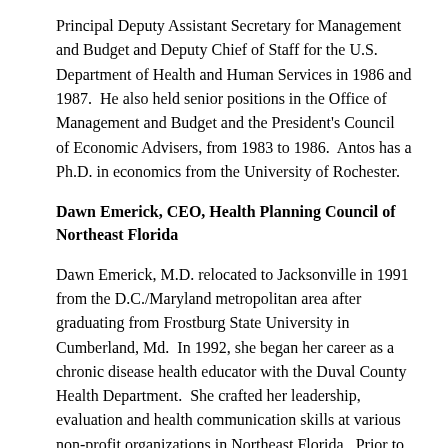Principal Deputy Assistant Secretary for Management and Budget and Deputy Chief of Staff for the U.S. Department of Health and Human Services in 1986 and 1987.  He also held senior positions in the Office of Management and Budget and the President's Council of Economic Advisers, from 1983 to 1986.  Antos has a Ph.D. in economics from the University of Rochester.
Dawn Emerick, CEO, Health Planning Council of Northeast Florida
Dawn Emerick, M.D. relocated to Jacksonville in 1991 from the D.C./Maryland metropolitan area after graduating from Frostburg State University in Cumberland, Md.  In 1992, she began her career as a chronic disease health educator with the Duval County Health Department.  She crafted her leadership, evaluation and health communication skills at various non-profit organizations in Northeast Florida.  Prior to accepting the CEO position at the Health Planning Council, she served as the Senior Public Affairs Consultant for First Coast Service Options, Florida's Medicare Administrator and subsidiary of Blue Cross and Blue Shield of Florida.